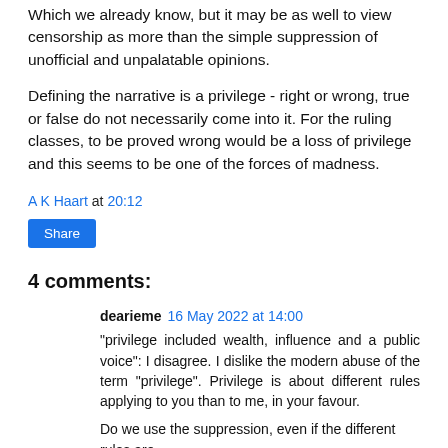Which we already know, but it may be as well to view censorship as more than the simple suppression of unofficial and unpalatable opinions.
Defining the narrative is a privilege - right or wrong, true or false do not necessarily come into it. For the ruling classes, to be proved wrong would be a loss of privilege and this seems to be one of the forces of madness.
A K Haart at 20:12
Share
4 comments:
dearieme  16 May 2022 at 14:00
"privilege included wealth, influence and a public voice": I disagree. I dislike the modern abuse of the term "privilege". Privilege is about different rules applying to you than to me, in your favour.
Do we use the suppression, even if the different rules are